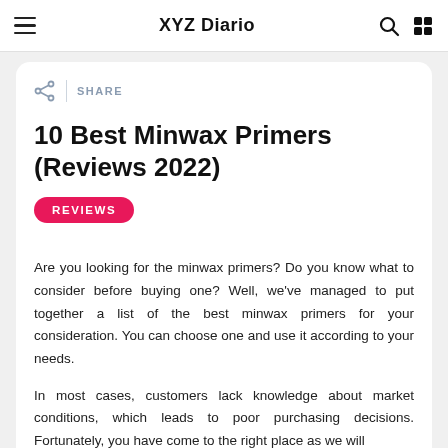XYZ Diario
10 Best Minwax Primers (Reviews 2022)
REVIEWS
Are you looking for the minwax primers? Do you know what to consider before buying one? Well, we've managed to put together a list of the best minwax primers for your consideration. You can choose one and use it according to your needs.
In most cases, customers lack knowledge about market conditions, which leads to poor purchasing decisions. Fortunately, you have come to the right place as we will